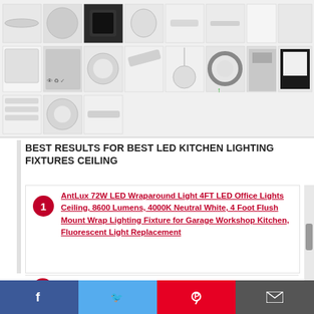[Figure (photo): Grid of LED kitchen ceiling light product images showing various styles including round flush mounts, wraparound lights, panel lights, and ring lights]
BEST RESULTS FOR BEST LED KITCHEN LIGHTING FIXTURES CEILING
1. AntLux 72W LED Wraparound Light 4FT LED Office Lights Ceiling, 8600 Lumens, 4000K Neutral White, 4 Foot Flush Mount Wrap Lighting Fixture for Garage Workshop Kitchen, Fluorescent Light Replacement
2. 15-Inch Double Ring Dimmable LED Flush…
[Figure (screenshot): Social media share bar with Facebook, Twitter, Pinterest, and Email icons]